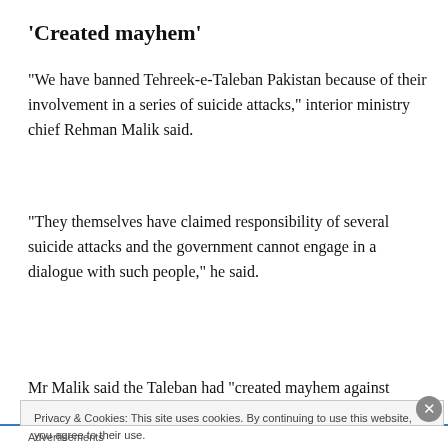‘Created mayhem’
“We have banned Tehreek-e-Taleban Pakistan because of their involvement in a series of suicide attacks,” interior ministry chief Rehman Malik said.
“They themselves have claimed responsibility of several suicide attacks and the government cannot engage in a dialogue with such people,” he said.
Mr Malik said the Taleban had “created mayhem against
Privacy & Cookies: This site uses cookies. By continuing to use this website, you agree to their use.
To find out more, including how to control cookies, see here: Cookie Policy
Close and accept
Advertisements